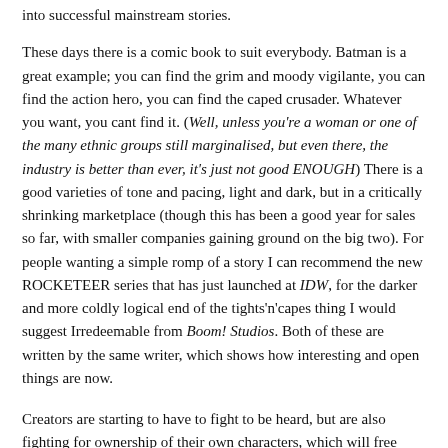into successful mainstream stories.
These days there is a comic book to suit everybody. Batman is a great example; you can find the grim and moody vigilante, you can find the action hero, you can find the caped crusader. Whatever you want, you cant find it. (Well, unless you're a woman or one of the many ethnic groups still marginalised, but even there, the industry is better than ever, it's just not good ENOUGH) There is a good varieties of tone and pacing, light and dark, but in a critically shrinking marketplace (though this has been a good year for sales so far, with smaller companies gaining ground on the big two). For people wanting a simple romp of a story I can recommend the new ROCKETEER series that has just launched at IDW, for the darker and more coldly logical end of the tights'n'capes thing I would suggest Irredeemable from Boom! Studios. Both of these are written by the same writer, which shows how interesting and open things are now.
Creators are starting to have to fight to be heard, but are also fighting for ownership of their own characters, which will free them up long term from the kind of editorial and corporate mandates that drive the likes of Batman and Superman. It'll be interesting to see what the